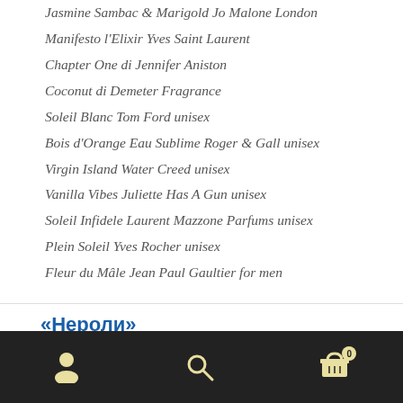Jasmine Sambac & Marigold Jo Malone London
Manifesto l'Elixir Yves Saint Laurent
Chapter One di Jennifer Aniston
Coconut di Demeter Fragrance
Soleil Blanc Tom Ford unisex
Bois d'Orange Eau Sublime Roger & Gall unisex
Virgin Island Water Creed unisex
Vanilla Vibes Juliette Has A Gun unisex
Soleil Infidele Laurent Mazzone Parfums unisex
Plein Soleil Yves Rocher unisex
Fleur du Mâle Jean Paul Gaultier for men
«Нероли»
[Figure (other): Mobile navigation footer bar with person icon, search icon, and shopping cart icon with badge showing 0]